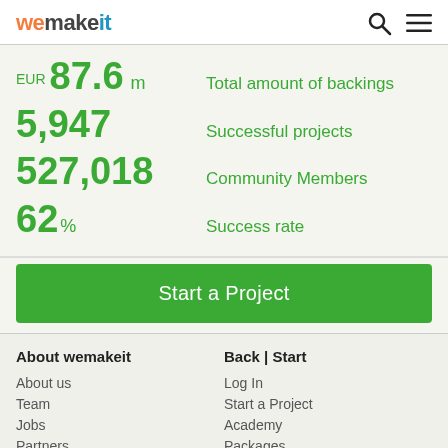wemakeit
EUR 87.6 m — Total amount of backings
5,947 — Successful projects
527,018 — Community Members
62% — Success rate
Start a Project
About wemakeit
About us
Team
Jobs
Partners
Media
Back | Start
Log In
Start a Project
Academy
Packages
Platform comparison